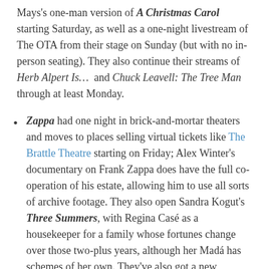Mays's one-man version of A Christmas Carol starting Saturday, as well as a one-night livestream of The OTA from their stage on Sunday (but with no in-person seating). They also continue their streams of Herb Alpert Is… and Chuck Leavell: The Tree Man through at least Monday.
Zappa had one night in brick-and-mortar theaters and moves to places selling virtual tickets like The Brattle Theatre starting on Friday; Alex Winter's documentary on Frank Zappa does have the full co-operation of his estate, allowing him to use all sorts of archive footage. They also open Sandra Kogut's Three Summers, with Regina Casé as a housekeeper for a family whose fortunes change over those two-plus years, although her Madá has schemes of her own. They've also got a new restoration of Hou Hsiao-Hsien's Flowers of Shanghai, which features Hong Kong stars Tony Leung Chiu-Wai, Michelle